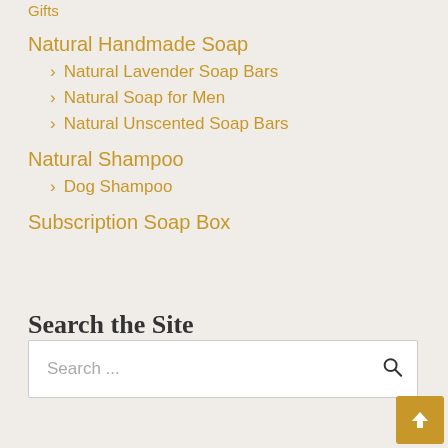Gifts
Natural Handmade Soap
Natural Lavender Soap Bars
Natural Soap for Men
Natural Unscented Soap Bars
Natural Shampoo
Dog Shampoo
Subscription Soap Box
Search the Site
Search ...